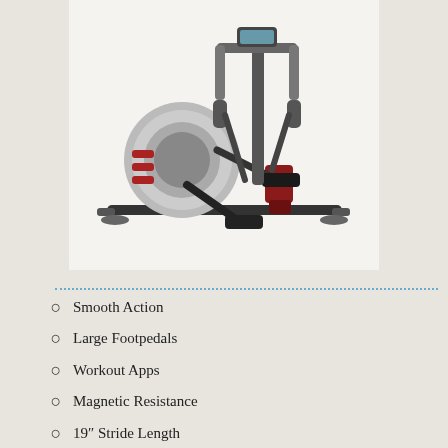[Figure (photo): An elliptical exercise machine with gray flywheel cover, red accents, black frame, foot pedals, and dual handlebars, shown on a white/light background.]
Smooth Action
Large Footpedals
Workout Apps
Magnetic Resistance
19″ Stride Length
WiFi Connectivity